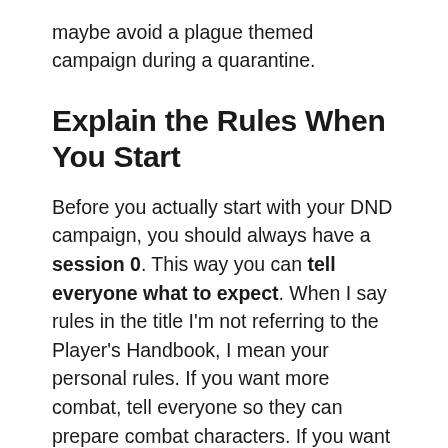maybe avoid a plague themed campaign during a quarantine.
Explain the Rules When You Start
Before you actually start with your DND campaign, you should always have a session 0. This way you can tell everyone what to expect. When I say rules in the title I'm not referring to the Player's Handbook, I mean your personal rules. If you want more combat, tell everyone so they can prepare combat characters. If you want mystery, they can prepare detectives instead of barbarians. It's horrible to play a character that is useless in the campaign.